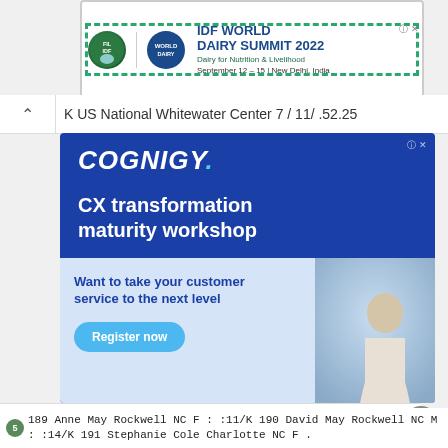[Figure (screenshot): IDF World Dairy Summit 2022 advertisement banner with stamp-style border, logos, title 'IDF WORLD DAIRY SUMMIT 2022', subtitle 'Dairy for Nutrition & Livelihood', date 'September 12 - 15 | New Delhi, India']
K US National Whitewater Center 7 / 11/ .52.25
[Figure (screenshot): Cognigy advertisement banner with dark blue background, logo 'COGNIGY' in italic white, headline 'CX transformation maturity workshop', lower section with text 'Want to take your customer service to the next level', Register now button, and image of a person]
5  189 Anne May Rockwell NC F : :11/K 190 David May Rockwell NC M : :14/K 191 Stephanie Cole Charlotte NC F .